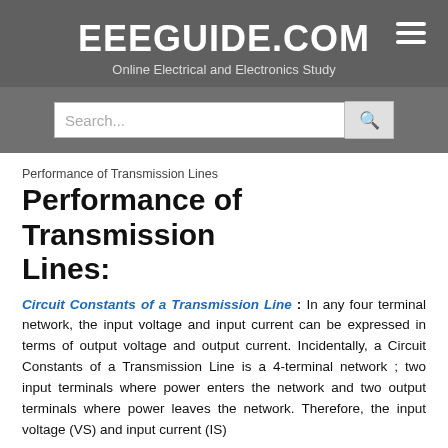EEEGUIDE.COM — Online Electrical and Electronics Study
Performance of Transmission Lines
Performance of Transmission Lines:
Circuit Constants of a Transmission Line : In any four terminal network, the input voltage and input current can be expressed in terms of output voltage and output current. Incidentally, a Circuit Constants of a Transmission Line is a 4-terminal network ; two input terminals where power enters the network and two output terminals where power leaves the network. Therefore, the input voltage (VS) and input current (IS)